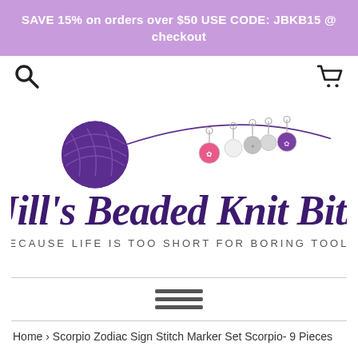SAVE 15% on orders over $50 USE CODE: JBKB15 @ checkout
[Figure (logo): Jill's Beaded Knit Bits logo with yarn ball and stitch markers, tagline: BECAUSE LIFE IS TOO SHORT FOR BORING TOOLS]
Home › Scorpio Zodiac Sign Stitch Marker Set Scorpio- 9 Pieces